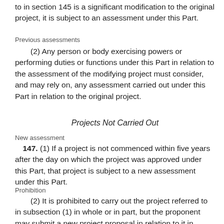to in section 145 is a significant modification to the original project, it is subject to an assessment under this Part.
Previous assessments
(2) Any person or body exercising powers or performing duties or functions under this Part in relation to the assessment of the modifying project must consider, and may rely on, any assessment carried out under this Part in relation to the original project.
Projects Not Carried Out
New assessment
147. (1) If a project is not commenced within five years after the day on which the project was approved under this Part, that project is subject to a new assessment under this Part.
Prohibition
(2) It is prohibited to carry out the project referred to in subsection (1) in whole or in part, but the proponent may submit a new project proposal in relation to it in accordance with section 76.